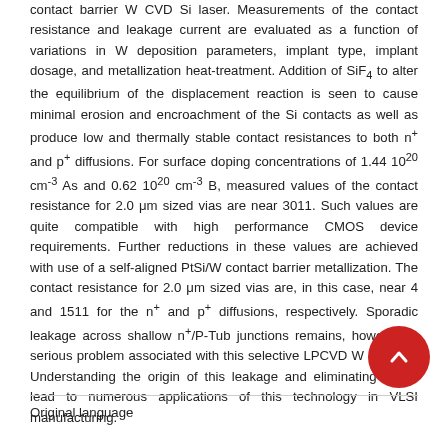contact barrier W CVD Si laser. Measurements of the contact resistance and leakage current are evaluated as a function of variations in W deposition parameters, implant type, implant dosage, and metallization heat-treatment. Addition of SiF4 to alter the equilibrium of the displacement reaction is seen to cause minimal erosion and encroachment of the Si contacts as well as produce low and thermally stable contact resistances to both n+ and p+ diffusions. For surface doping concentrations of 1.44 10^20 cm^-3 As and 0.62 10^20 cm^-3 B, measured values of the contact resistance for 2.0 μm sized vias are near 3011. Such values are quite compatible with high performance CMOS device requirements. Further reductions in these values are achieved with use of a self-aligned PtSi/W contact barrier metallization. The contact resistance for 2.0 μm sized vias are, in this case, near 4 and 1511 for the n+ and p+ diffusions, respectively. Sporadic leakage across shallow n+/P-Tub junctions remains, however, a serious problem associated with this selective LPCVD W process. Understanding the origin of this leakage and eliminating it can lead to numerous applications of this technology in VLSI manufacturing.
Original language